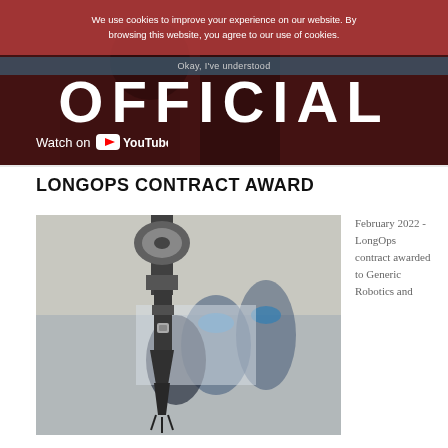We use cookies to improve your experience on our website. By browsing this website, you agree to our use of cookies.
Okay, I've understood
[Figure (screenshot): YouTube video player thumbnail showing 'OFFICIAL' in large white letters on dark background with 'Watch on YouTube' button overlay]
LONGOPS CONTRACT AWARD
[Figure (photo): Close-up photo of a robotic arm or drill tool component in the foreground, with blurred workers in blue hard hats in the background]
February 2022 - LongOps contract awarded to Generic Robotics and